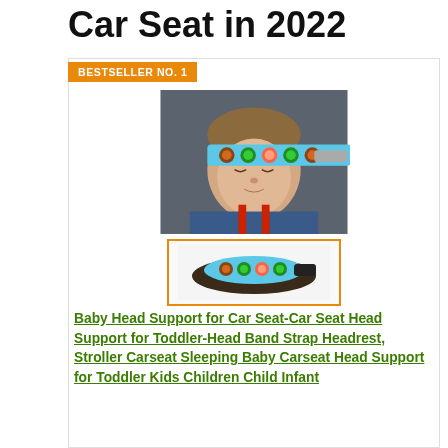Car Seat in 2022
BESTSELLER NO. 1
[Figure (photo): Product photo of a child sleeping in a car seat with a colorful head support strap across forehead, and a thumbnail of the head band strap alone with an orange border]
Baby Head Support for Car Seat-Car Seat Head Support for Toddler-Head Band Strap Headrest, Stroller Carseat Sleeping Baby Carseat Head Support for Toddler Kids Children Child Infant